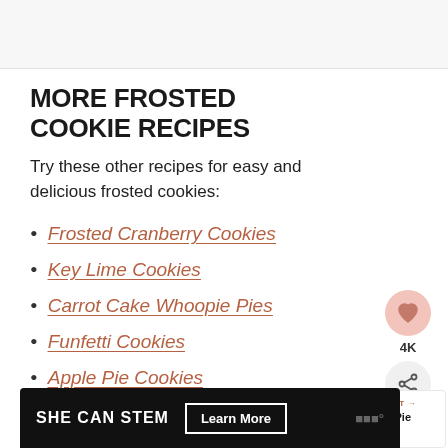[Figure (photo): Top image area, partially visible food photo]
MORE FROSTED COOKIE RECIPES
Try these other recipes for easy and delicious frosted cookies:
Frosted Cranberry Cookies
Key Lime Cookies
Carrot Cake Whoopie Pies
Funfetti Cookies
Apple Pie Cookies
[Figure (infographic): What's Next widget showing Pumpkin Pie Crisp]
[Figure (infographic): SHE CAN STEM advertisement banner at bottom]